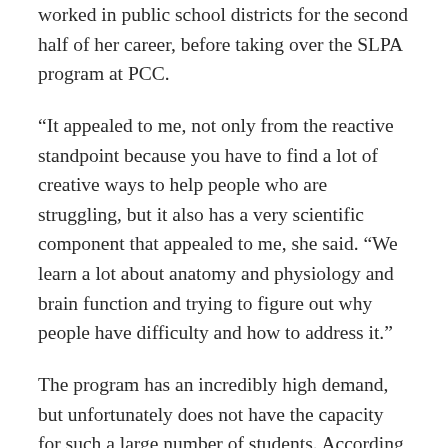worked in public school districts for the second half of her career, before taking over the SLPA program at PCC.
“It appealed to me, not only from the reactive standpoint because you have to find a lot of creative ways to help people who are struggling, but it also has a very scientific component that appealed to me, she said. “We learn a lot about anatomy and physiology and brain function and trying to figure out why people have difficulty and how to address it.”
The program has an incredibly high demand, but unfortunately does not have the capacity for such a large number of students. According to Dunbar, they have a capacity of roughly 25 people each year.
Those students who manage to get a spot in the